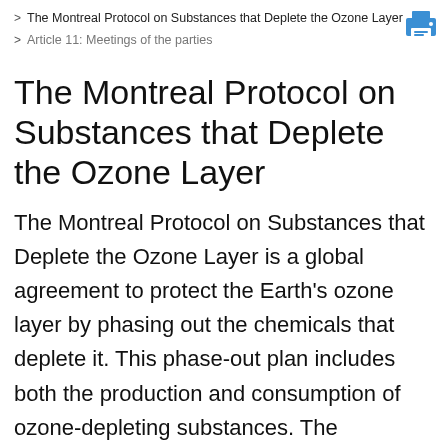> The Montreal Protocol on Substances that Deplete the Ozone Layer
> Article 11: Meetings of the parties
The Montreal Protocol on Substances that Deplete the Ozone Layer
The Montreal Protocol on Substances that Deplete the Ozone Layer is a global agreement to protect the Earth's ozone layer by phasing out the chemicals that deplete it. This phase-out plan includes both the production and consumption of ozone-depleting substances. The landmark agreement was signed in 1987 and entered